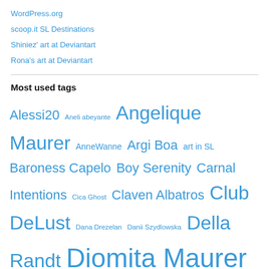WordPress.org
scoop.it SL Destinations
Shiniez' art at Deviantart
Rona's art at Deviantart
Most used tags
Alessi20 Aneli abeyante Angelique Maurer AnneWanne Argi Boa art in SL Baroness Capelo Boy Serenity Carnal Intentions Cica Ghost Claven Albatros Club DeLust Dana Drezelan Danii Szydlowska Della Randt Diomita Maurer DixMix Gallery DixMix Source Domme a Domme Ebony Massey Ehesklavin Elenaslv Serenity Enjoying bondage series Euro Brats Fetisch